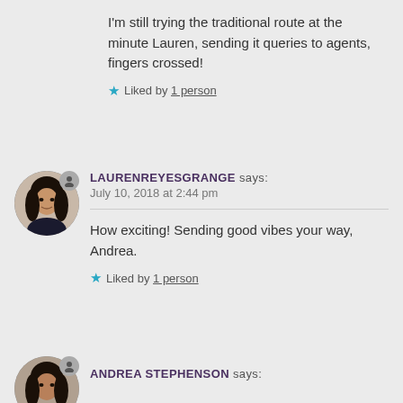I'm still trying the traditional route at the minute Lauren, sending it queries to agents, fingers crossed!
Liked by 1 person
LAURENREYESGRANGE says: July 10, 2018 at 2:44 pm
How exciting! Sending good vibes your way, Andrea.
Liked by 1 person
ANDREA STEPHENSON says: